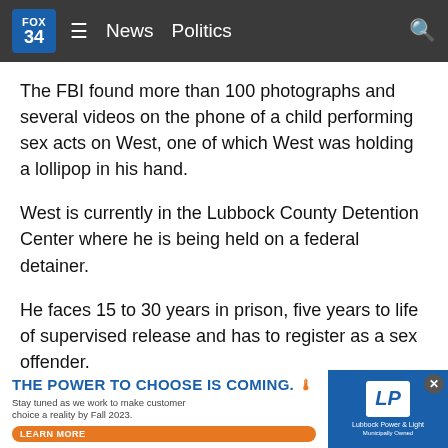FOX 34  ≡  News  Politics
The FBI found more than 100 photographs and several videos on the phone of a child performing sex acts on West, one of which West was holding a lollipop in his hand.
West is currently in the Lubbock County Detention Center where he is being held on a federal detainer.
He faces 15 to 30 years in prison, five years to life of supervised release and has to register as a sex offender.
His sentencing date has not been set.
Copyright 2022 KCBD. All rights reserved.
[Figure (screenshot): Advertisement banner: 'THE POWER TO CHOOSE IS COMING.' with Lubbock Power & Light branding and a Learn More button.]